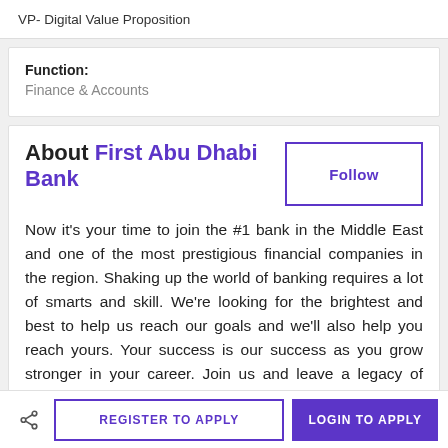VP- Digital Value Proposition
Function:
Finance & Accounts
About First Abu Dhabi Bank
Now it's your time to join the #1 bank in the Middle East and one of the most prestigious financial companies in the region. Shaking up the world of banking requires a lot of smarts and skill. We're looking for the brightest and best to help us reach our goals and we'll also help you reach yours. Your success is our success as you grow stronger in your career. Join us and leave a legacy of your own, as a pioneer in both the company and the
REGISTER TO APPLY   LOGIN TO APPLY